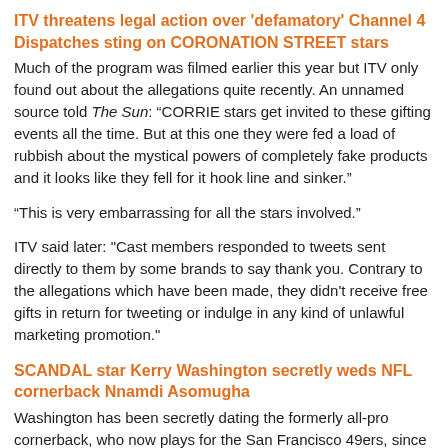ITV threatens legal action over 'defamatory' Channel 4 Dispatches sting on CORONATION STREET stars
Much of the program was filmed earlier this year but ITV only found out about the allegations quite recently. An unnamed source told The Sun: “CORRIE stars get invited to these gifting events all the time. But at this one they were fed a load of rubbish about the mystical powers of completely fake products and it looks like they fell for it hook line and sinker.”
“This is very embarrassing for all the stars involved.”
ITV said later: "Cast members responded to tweets sent directly to them by some brands to say thank you. Contrary to the allegations which have been made, they didn't receive free gifts in return for tweeting or indulge in any kind of unlawful marketing promotion."
SCANDAL star Kerry Washington secretly weds NFL cornerback Nnamdi Asomugha
Washington has been secretly dating the formerly all-pro cornerback, who now plays for the San Francisco 49ers, since last summer.